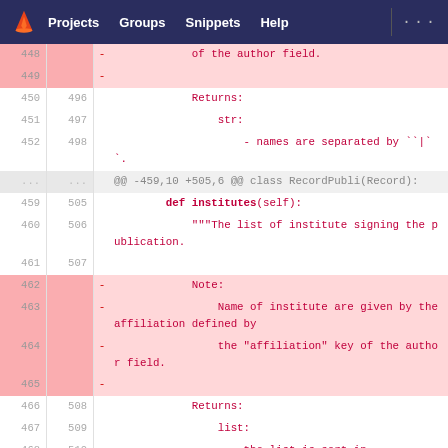GitLab navigation: Projects, Groups, Snippets, Help
| old_ln | new_ln | sign | code |
| --- | --- | --- | --- |
| 448 |  | - | of the author field. |
| 449 |  | - |  |
| 450 | 496 |  | Returns: |
| 451 | 497 |  | str: |
| 452 | 498 |  | - names are separated by ``|``. |
| ... | ... |  | @@ -459,10 +505,6 @@ class RecordPubli(Record): |
| 459 | 505 |  | def institutes(self): |
| 460 | 506 |  | """The list of institute signing the publication. |
| 461 | 507 |  |  |
| 462 |  | - | Note: |
| 463 |  | - | Name of institute are given by the affiliation defined by |
| 464 |  | - | the "affiliation" key of the author field. |
| 465 |  | - |  |
| 466 | 508 |  | Returns: |
| 467 | 509 |  | list: |
| 468 | 510 |  | the list is sort in |